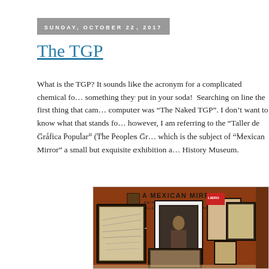SUNDAY, OCTOBER 22, 2017
The TGP
What is the TGP? It sounds like the acronym for a complicated chemical formula or something they put in your soda!  Searching on line the first thing that came up on my computer was “The Naked TGP”. I don’t want to know what that stands for! In this blog, however, I am referring to the “Taller de Gráfica Popular” (The Peoples Graphics Workshop) which is the subject of “Mexican Mirror” a small but exquisite exhibition at the Natural History Museum.
[Figure (photo): Museum gallery wall showing 'A Mexican Mirror: Prints from the Taller de Gráfica Popular' exhibition. Orange/terracotta colored wall with several framed prints and artworks displayed on it. The wall text reads 'A MEXICAN MIRROR PRINTS FROM THE TALLER DE GRÁFICA POPULAR'.]